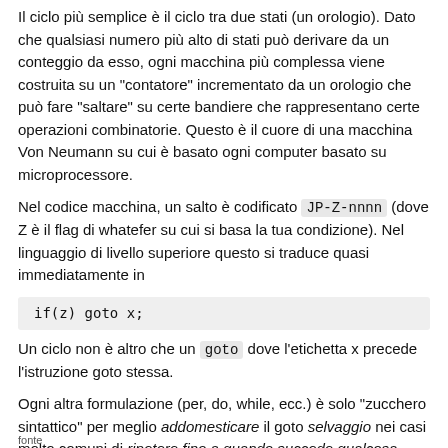Il ciclo più semplice è il ciclo tra due stati (un orologio). Dato che qualsiasi numero più alto di stati può derivare da un conteggio da esso, ogni macchina più complessa viene costruita su un "contatore" incrementato da un orologio che può fare "saltare" su certe bandiere che rappresentano certe operazioni combinatorie. Questo è il cuore di una macchina Von Neumann su cui è basato ogni computer basato su microprocessore.
Nel codice macchina, un salto è codificato JP-Z-nnnn (dove Z è il flag di whatefer su cui si basa la tua condizione). Nel linguaggio di livello superiore questo si traduce quasi immediatamente in
Un ciclo non è altro che un goto dove l'etichetta x precede l'istruzione goto stessa.
Ogni altra formulazione (per, do, while, ecc.) è solo "zucchero sintattico" per meglio addomesticare il goto selvaggio nei casi molto comuni di ripetere fino a quando succede qualcosa
fonte